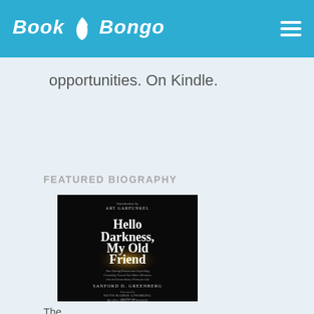Book Bongo
opportunities. On Kindle.
FEATURED BIOGRAPHY
[Figure (illustration): Book cover of 'Hello Darkness, My Old Friend' by Sanford D. Greenberg, with introduction by Art Garfunkel, foreword by Ruth Bader Ginsburg, afterword by Margaret Atwood. Black cover with glowing light effect behind the title text.]
The...